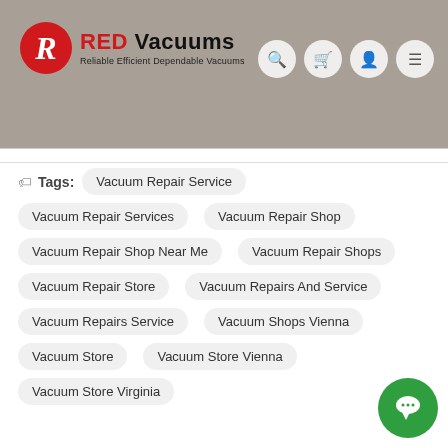[Figure (logo): RED Vacuums logo with red R circle and tagline 'Reliable Efficient Dependable Vacuums']
Tags: Vacuum Repair Service
Vacuum Repair Services
Vacuum Repair Shop
Vacuum Repair Shop Near Me
Vacuum Repair Shops
Vacuum Repair Store
Vacuum Repairs And Service
Vacuum Repairs Service
Vacuum Shops Vienna
Vacuum Store
Vacuum Store Vienna
Vacuum Store Virginia